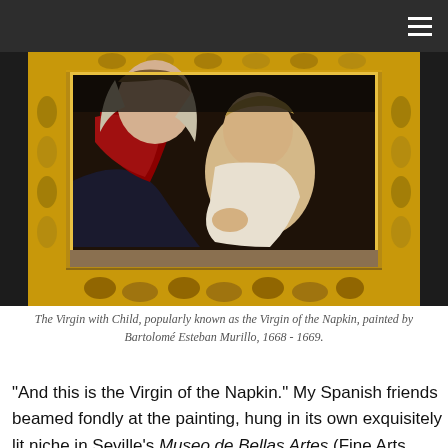[Figure (photo): A framed painting showing the Virgin Mary with the Christ Child. The painting is by Bartolomé Esteban Murillo (1668-1669), displayed in an ornate gold frame. The Virgin wears a red and dark blue garment, and the child leans against her. The frame features elaborate gilded decorative carving.]
The Virgin with Child, popularly known as the Virgin of the Napkin, painted by Bartolomé Esteban Murillo, 1668 - 1669.
“And this is the Virgin of the Napkin.” My Spanish friends beamed fondly at the painting, hung in its own exquisitely lit niche in Seville’s Museo de Bellas Artes (Fine Arts Museum). Sometimes both talking at once, each